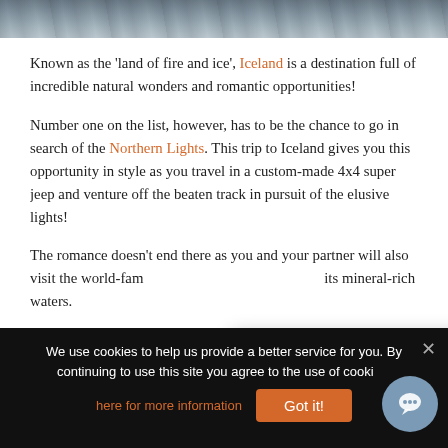[Figure (photo): Partial photo banner at top of page showing a rocky/icy landscape, cropped to a thin strip]
Known as the ‘land of fire and ice’, Iceland is a destination full of incredible natural wonders and romantic opportunities!
Number one on the list, however, has to be the chance to go in search of the Northern Lights. This trip to Iceland gives you this opportunity in style as you travel in a custom-made 4x4 super jeep and venture off the beaten track in pursuit of the elusive lights!
The romance doesn’t end there as you and your partner will also visit the world-fam[ous...] its mineral-rich waters.
For urgent enquiries please call us on +44 (0) 1670 785 049
This holiday also include[s...]
We use cookies to help us provide a better service for you. By continuing to use this site you agree to the use of cookies. click here for more information
Got it!